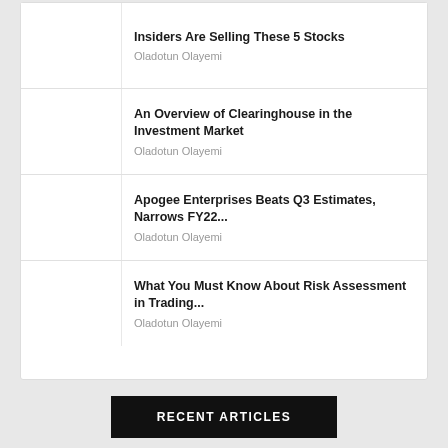Insiders Are Selling These 5 Stocks
Oladotun Olayemi
An Overview of Clearinghouse in the Investment Market
Oladotun Olayemi
Apogee Enterprises Beats Q3 Estimates, Narrows FY22...
Oladotun Olayemi
What You Must Know About Risk Assessment in Trading...
Oladotun Olayemi
RECENT ARTICLES